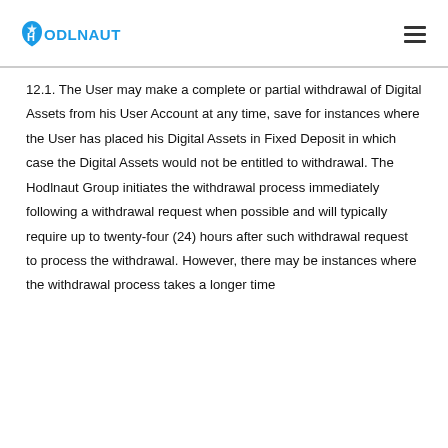HODLNAUT
12.1. The User may make a complete or partial withdrawal of Digital Assets from his User Account at any time, save for instances where the User has placed his Digital Assets in Fixed Deposit in which case the Digital Assets would not be entitled to withdrawal. The Hodlnaut Group initiates the withdrawal process immediately following a withdrawal request when possible and will typically require up to twenty-four (24) hours after such withdrawal request to process the withdrawal. However, there may be instances where the withdrawal process takes a longer time